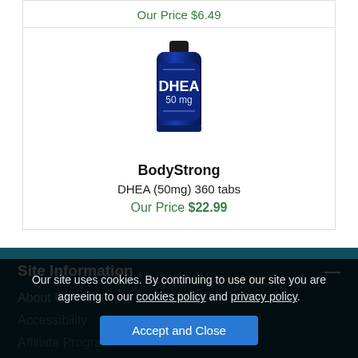Our Price $6.49
[Figure (photo): DHEA 50mg supplement bottle with dark blue label by BodyStrong]
BodyStrong
DHEA (50mg) 360 tabs
Our Price $22.99
Site Information
About Us
Accessibility
Affiliate Program
Privacy & Security
Our site uses cookies. By continuing to use our site you are agreeing to our cookies policy and privacy policy.
Accept and Close